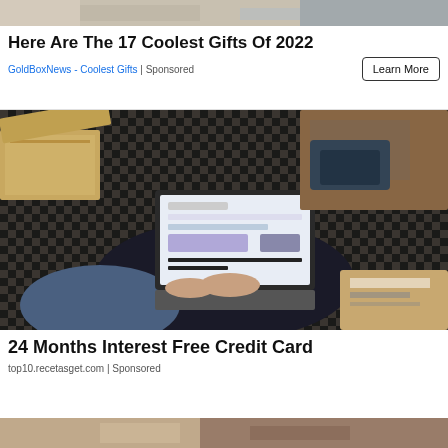[Figure (photo): Partial cropped image at top of page, appears to show fabric/clothing items]
Here Are The 17 Coolest Gifts Of 2022
GoldBoxNews - Coolest Gifts | Sponsored
[Figure (photo): Woman sitting cross-legged on a checkered floor/rug using a laptop, surrounded by open cardboard shipping boxes and packaged items]
24 Months Interest Free Credit Card
top10.recetasget.com | Sponsored
[Figure (photo): Partial cropped image at bottom of page, appears to show an animal (cat) on a fur/fluffy surface]